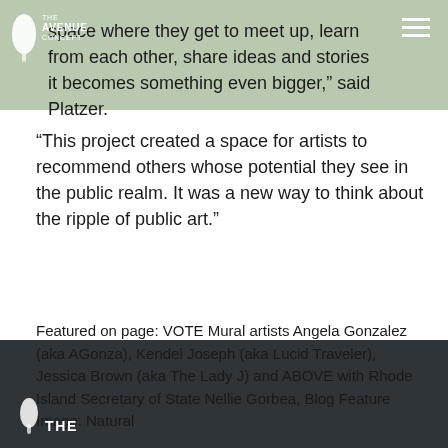space where they get to meet up, learn from each other, share ideas and stories it becomes something even bigger,” said Platzer. “This project created a space for artists to recommend others whose potential they see in the public realm. It was a new way to think about the ripple of public art.”
Featured on page: VOTE Mural artists Angela Gonzalez (aka AGonza), Kendel Joseph (aka Lucid Traveler), Jessica Brown (aka The Lady J) and ABOVE with Rhode Island Secretary of State Nellie Gorbea, Blog Feature Image: Natural
THE